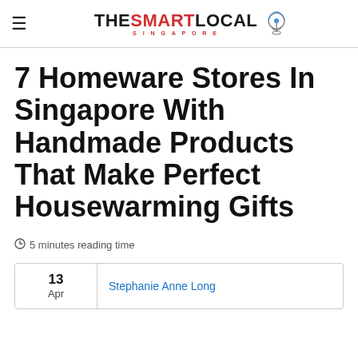≡ THESMARTLOCAL SINGAPORE
7 Homeware Stores In Singapore With Handmade Products That Make Perfect Housewarming Gifts
5 minutes reading time
13
Apr
Stephanie Anne Long